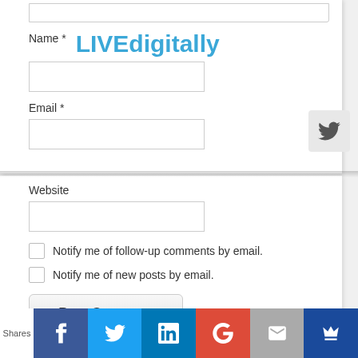[Figure (screenshot): Comment form with Name field and LIVEdigitally watermark, Email field, Website field, checkboxes for email notifications, Post Comment button, and social sharing bar at bottom]
Name *
LIVEdigitally
Email *
Website
Notify me of follow-up comments by email.
Notify me of new posts by email.
Post Comment
Shares